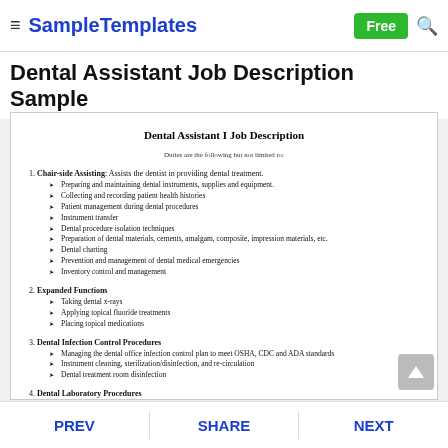≡ SampleTemplates | Free 🔍
Dental Assistant Job Description Sample
Dental Assistant I Job Description
Duties are the following but not limited to:
1. Chair-side Assisting: Assists the dentist in providing dental treatment.
Preparing and maintaining dental instruments, supplies and equipment.
Collecting and recording patient health histories
Patient management during dental procedures
Instrument transfer
Dental procedure isolation techniques
Preparation of dental materials, cements, amalgam, composite, impression materials, etc.
Dental charting
Prevention and management of dental medical emergencies
Inventory control and management
2. Expanded Functions
Taking dental x-rays
Applying topical fluoride treatments
Placing topical medications
3. Dental Infection Control Procedures
Managing the dental office infection control plan to meet OSHA, CDC and ADA standards
Instrument cleaning, sterilization/disinfection, and re-circulation
Dental treatment room disinfection
4. Dental Laboratory Procedures
Pouring impressions to make stone and plaster models
PREV  SHARE  NEXT